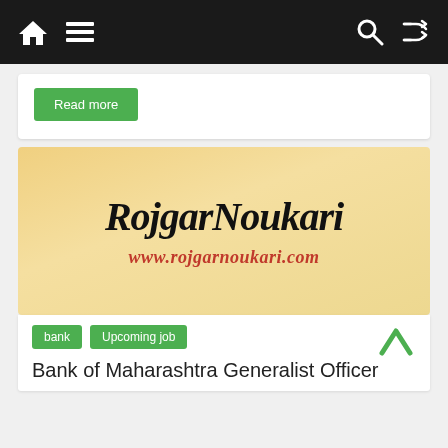Navigation bar with home, menu, search, and shuffle icons
[Figure (other): Read more button in green]
[Figure (logo): RojgarNoukari logo image with text 'RojgarNoukari' and 'www.rojgarnoukari.com' on a tan/cream background]
bank  Upcoming job
Bank of Maharashtra Generalist Officer